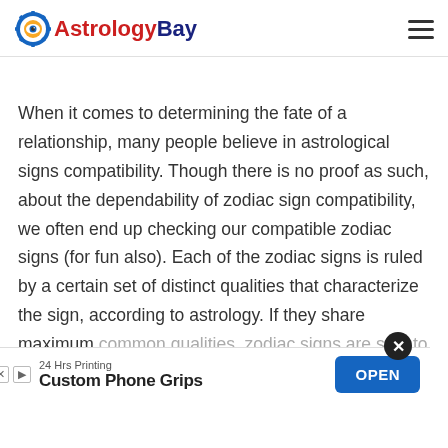AstrologyBay
When it comes to determining the fate of a relationship, many people believe in astrological signs compatibility. Though there is no proof as such, about the dependability of zodiac sign compatibility, we often end up checking our compatible zodiac signs (for fun also). Each of the zodiac signs is ruled by a certain set of distinct qualities that characterize the sign, according to astrology. If they share maximum common qualities, zodiac signs are said to be compatible. Taking an example, Aries man and Leo wom
[Figure (other): Advertisement banner: 24 Hrs Printing — Custom Phone Grips, with OPEN button]